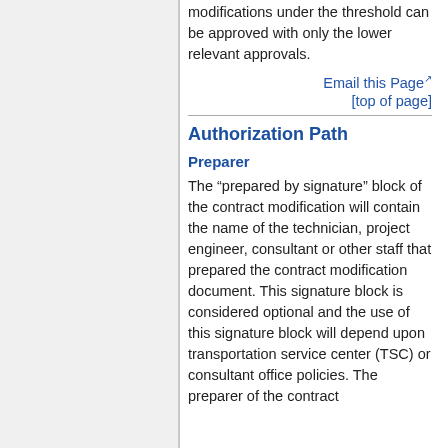modifications under the threshold can be approved with only the lower relevant approvals.
Email this Page
[top of page]
Authorization Path
Preparer
The “prepared by signature” block of the contract modification will contain the name of the technician, project engineer, consultant or other staff that prepared the contract modification document. This signature block is considered optional and the use of this signature block will depend upon transportation service center (TSC) or consultant office policies. The preparer of the contract